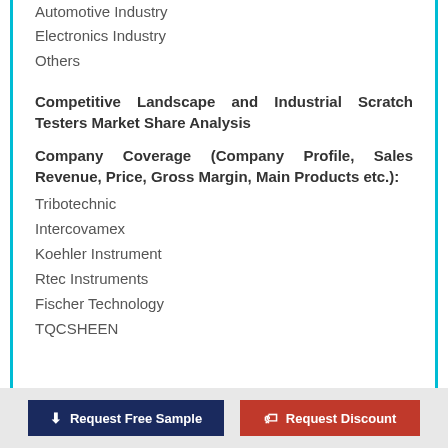Automotive Industry
Electronics Industry
Others
Competitive Landscape and Industrial Scratch Testers Market Share Analysis
Company Coverage (Company Profile, Sales Revenue, Price, Gross Margin, Main Products etc.):
Tribotechnic
Intercovamex
Koehler Instrument
Rtec Instruments
Fischer Technology
TQCSHEEN
Request Free Sample   Request Discount